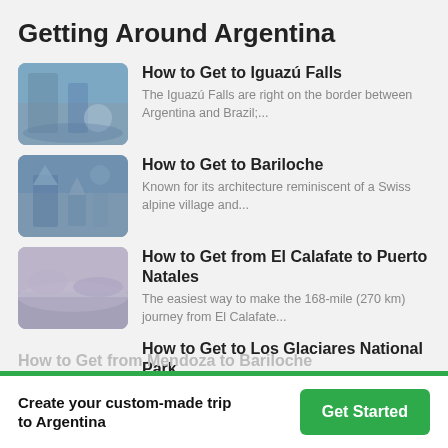Getting Around Argentina
How to Get to Iguazú Falls — The Iguazú Falls are right on the border between Argentina and Brazil;...
How to Get to Bariloche — Known for its architecture reminiscent of a Swiss alpine village and...
How to Get from El Calafate to Puerto Natales — The easiest way to make the 168-mile (270 km) journey from El Calafate...
How to Get to Los Glaciares National Park — Los Glaciares National Park is the largest national park in Argentina,...
How to Get from Mendoza to Bariloche
Create your custom-made trip to Argentina
Get Started